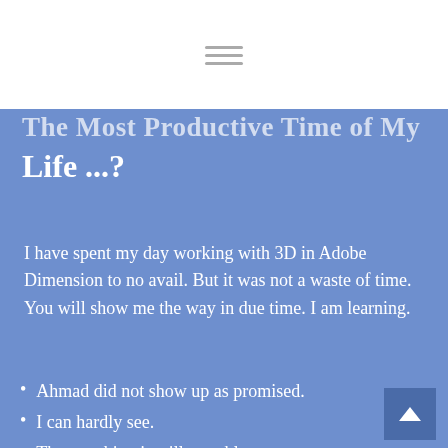The Most Productive Time of My Life ...?
I have spent my day working with 3D in Adobe Dimension to no avail. But it was not a waste of time. You will show me the way in due time. I am learning.
Ahmad did not show up as promised.
I can hardly see.
The coughing is still a problem
But You have reminded me that this is only the beginning of greater troubles.
You toughening me up for such a time.